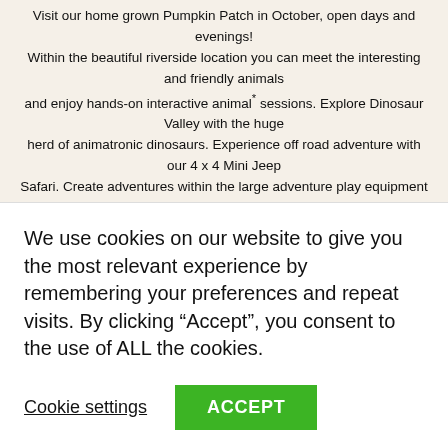Visit our home grown Pumpkin Patch in October, open days and evenings! Within the beautiful riverside location you can meet the interesting and friendly animals and enjoy hands-on interactive animal* sessions. Explore Dinosaur Valley with the huge herd of animatronic dinosaurs. Experience off road adventure with our 4 x 4 Mini Jeep Safari. Create adventures within the large adventure play equipment and climbing wall or jump on massive air pillows. Get back to nature with the riverside nature trail walk with a children's assault course. Feel prehistoric with the collection of interactive dinosaurs. Ride the Strawberry Line miniature railway, play mini golf or race go-carts. Last but certainly not least the entertainment team will engage and entertain you. Avon Valley absolutely love events so check out the website for what is coming up. We also offer camping and glamping with hot tubs and you can bolt on watersports to your stay. All stays include park entry from day of arrival to include day of departure. We offer so much, you will struggle to fit it all in one trip!
*We have lots off farm animals species donkeys, meerkats, alpacas, llamas and farrow, reindeer...
We use cookies on our website to give you the most relevant experience by remembering your preferences and repeat visits. By clicking “Accept”, you consent to the use of ALL the cookies.